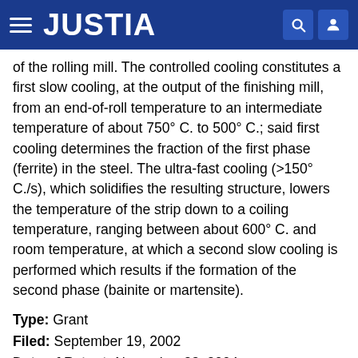JUSTIA
of the rolling mill. The controlled cooling constitutes a first slow cooling, at the output of the finishing mill, from an end-of-roll temperature to an intermediate temperature of about 750° C. to 500° C.; said first cooling determines the fraction of the first phase (ferrite) in the steel. The ultra-fast cooling (>150° C./s), which solidifies the resulting structure, lowers the temperature of the strip down to a coiling temperature, ranging between about 600° C. and room temperature, at which a second slow cooling is performed which results if the formation of the second phase (bainite or martensite).
Type: Grant
Filed: September 19, 2002
Date of Patent: November 23, 2004
Assignee: Centre de Recherches Metallurgiques A.S.B.L.
Inventors: Xavier Cornet, Jean-Claude Herman